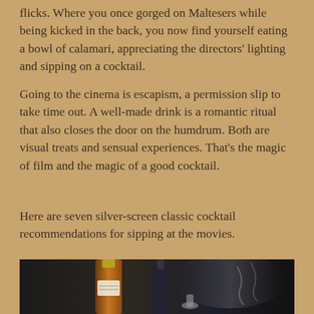flicks. Where you once gorged on Maltesers while being kicked in the back, you now find yourself eating a bowl of calamari, appreciating the directors' lighting and sipping on a cocktail.
Going to the cinema is escapism, a permission slip to take time out. A well-made drink is a romantic ritual that also closes the door on the humdrum. Both are visual treats and sensual experiences. That's the magic of film and the magic of a good cocktail.
Here are seven silver-screen classic cocktail recommendations for sipping at the movies.
[Figure (photo): Dark moody photo of cocktail bottles including a whisky/spirit bottle with amber liquid and other bar equipment on a dark background with atmospheric smoke/haze]